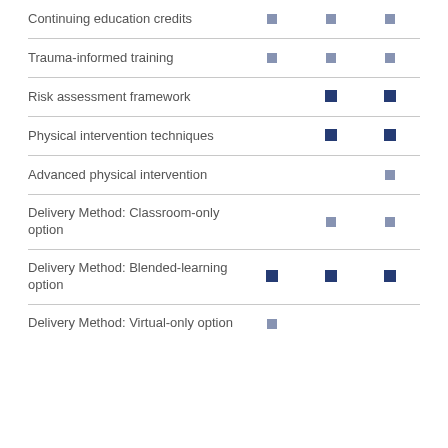| Feature | Col1 | Col2 | Col3 |
| --- | --- | --- | --- |
| Continuing education credits | ■ | ■ | ■ |
| Trauma-informed training | ■ | ■ | ■ |
| Risk assessment framework |  | ■ | ■ |
| Physical intervention techniques |  | ■ | ■ |
| Advanced physical intervention |  |  | ■ |
| Delivery Method: Classroom-only option |  | ■ | ■ |
| Delivery Method: Blended-learning option | ■ | ■ | ■ |
| Delivery Method: Virtual-only option | ■ |  |  |